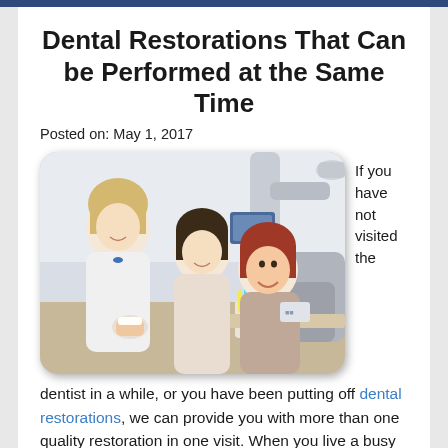Dental Restorations That Can be Performed at the Same Time
Posted on: May 1, 2017
[Figure (photo): A dental professional in a white coat showing something to two female patients (a younger and an older) in a dental office setting with dental tools and toothbrushes visible.]
If you have not visited the
dentist in a while, or you have been putting off dental restorations, we can provide you with more than one quality restoration in one visit. When you live a busy life with kids and work, it can be hard to set time aside to